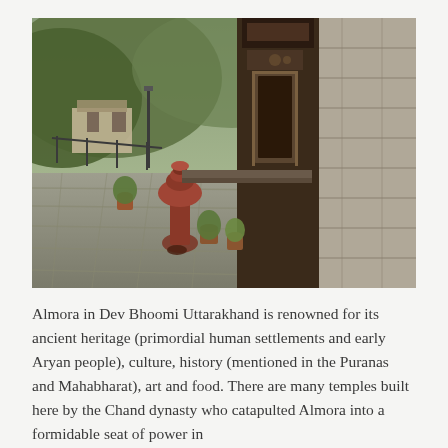[Figure (photo): Outdoor courtyard of an ancient temple complex in Almora, Uttarakhand, India. Stone-paved floor in foreground, a large red/terracotta decorative urn/kalash in the center, potted plants, and an ornate dark stone temple entrance with carved decorations on the right side. Green forested hills and buildings visible in the background under an overcast sky.]
Almora in Dev Bhoomi Uttarakhand is renowned for its ancient heritage (primordial human settlements and early Aryan people), culture, history (mentioned in the Puranas and Mahabharat), art and food. There are many temples built here by the Chand dynasty who catapulted Almora into a formidable seat of power in